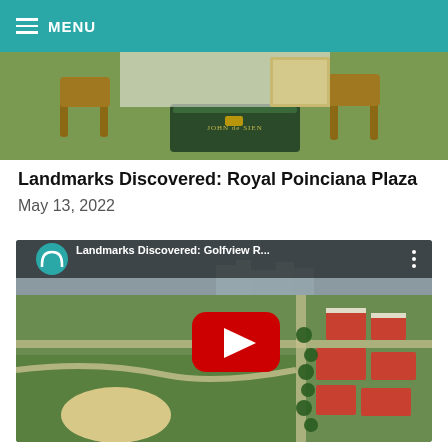MENU
[Figure (photo): Interior display with rattan chairs, green turf, and a green trunk/chest on display]
Landmarks Discovered: Royal Poinciana Plaza
May 13, 2022
[Figure (screenshot): YouTube video thumbnail for 'Landmarks Discovered: Golfview R...' showing aerial view of a residential neighborhood with golf course, palm trees, and red-roofed houses. YouTube play button visible in center.]